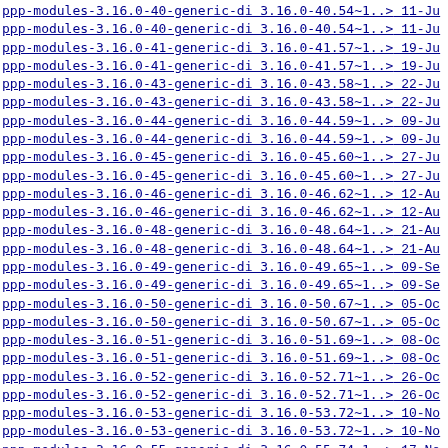ppp-modules-3.16.0-40-generic-di 3.16.0-40.54~1..> 11-Ju
ppp-modules-3.16.0-40-generic-di 3.16.0-40.54~1..> 11-Ju
ppp-modules-3.16.0-41-generic-di 3.16.0-41.57~1..> 19-Ju
ppp-modules-3.16.0-41-generic-di 3.16.0-41.57~1..> 19-Ju
ppp-modules-3.16.0-43-generic-di 3.16.0-43.58~1..> 22-Ju
ppp-modules-3.16.0-43-generic-di 3.16.0-43.58~1..> 22-Ju
ppp-modules-3.16.0-44-generic-di 3.16.0-44.59~1..> 09-Ju
ppp-modules-3.16.0-44-generic-di 3.16.0-44.59~1..> 09-Ju
ppp-modules-3.16.0-45-generic-di 3.16.0-45.60~1..> 27-Ju
ppp-modules-3.16.0-45-generic-di 3.16.0-45.60~1..> 27-Ju
ppp-modules-3.16.0-46-generic-di 3.16.0-46.62~1..> 12-Au
ppp-modules-3.16.0-46-generic-di 3.16.0-46.62~1..> 12-Au
ppp-modules-3.16.0-48-generic-di 3.16.0-48.64~1..> 21-Au
ppp-modules-3.16.0-48-generic-di 3.16.0-48.64~1..> 21-Au
ppp-modules-3.16.0-49-generic-di 3.16.0-49.65~1..> 09-Se
ppp-modules-3.16.0-49-generic-di 3.16.0-49.65~1..> 09-Se
ppp-modules-3.16.0-50-generic-di 3.16.0-50.67~1..> 05-Oc
ppp-modules-3.16.0-50-generic-di 3.16.0-50.67~1..> 05-Oc
ppp-modules-3.16.0-51-generic-di 3.16.0-51.69~1..> 08-Oc
ppp-modules-3.16.0-51-generic-di 3.16.0-51.69~1..> 08-Oc
ppp-modules-3.16.0-52-generic-di 3.16.0-52.71~1..> 26-Oc
ppp-modules-3.16.0-52-generic-di 3.16.0-52.71~1..> 26-Oc
ppp-modules-3.16.0-53-generic-di 3.16.0-53.72~1..> 10-No
ppp-modules-3.16.0-53-generic-di 3.16.0-53.72~1..> 10-No
ppp-modules-3.16.0-55-generic-di 3.16.0-55.74~1..> 17-No
ppp-modules-3.16.0-55-generic-di 3.16.0-55.74~1..> 17-No
ppp-modules-3.16.0-56-generic-di 3.16.0-56.75~1..> 02-De
ppp-modules-3.16.0-56-generic-di 3.16.0-56.75~1..> 02-De
ppp-modules-3.16.0-57-generic-di 3.16.0-57.77~1..> 18-De
ppp-modules-3.16.0-57-generic-di 3.16.0-57.77~1..> 18-De